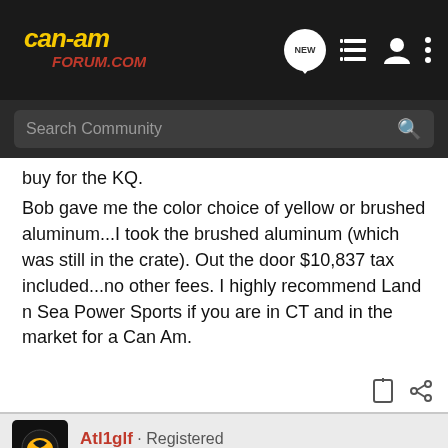[Figure (logo): Can-Am Forum.com logo in yellow and red text on black background]
Search Community
buy for the KQ.
Bob gave me the color choice of yellow or brushed aluminum...I took the brushed aluminum (which was still in the crate). Out the door $10,837 tax included...no other fees. I highly recommend Land n Sea Power Sports if you are in CT and in the market for a Can Am.
Atl1glf · Registered
Joined Dec 8, 2014 · 297 Posts
#2 · May 12, 2015
Congrats on the new ride. Planning any mods